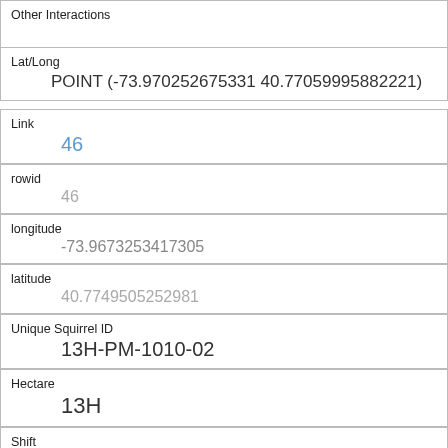| Other Interactions |  |
| Lat/Long | POINT (-73.970252675331 40.77059995882221) |
| Link | 46 |
| rowid | 46 |
| longitude | -73.9673253417305 |
| latitude | 40.7749505252981 |
| Unique Squirrel ID | 13H-PM-1010-02 |
| Hectare | 13H |
| Shift | PM |
| Date | 10102018 |